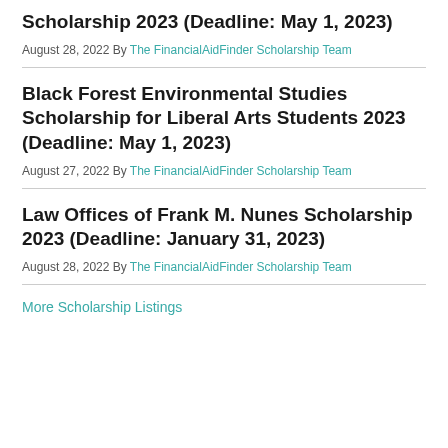Scholarship 2023 (Deadline: May 1, 2023)
August 28, 2022 By The FinancialAidFinder Scholarship Team
Black Forest Environmental Studies Scholarship for Liberal Arts Students 2023 (Deadline: May 1, 2023)
August 27, 2022 By The FinancialAidFinder Scholarship Team
Law Offices of Frank M. Nunes Scholarship 2023 (Deadline: January 31, 2023)
August 28, 2022 By The FinancialAidFinder Scholarship Team
More Scholarship Listings